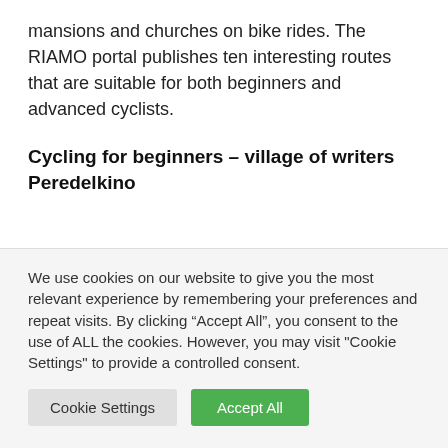mansions and churches on bike rides. The RIAMO portal publishes ten interesting routes that are suitable for both beginners and advanced cyclists.
Cycling for beginners – village of writers Peredelkino
We use cookies on our website to give you the most relevant experience by remembering your preferences and repeat visits. By clicking “Accept All”, you consent to the use of ALL the cookies. However, you may visit "Cookie Settings" to provide a controlled consent.